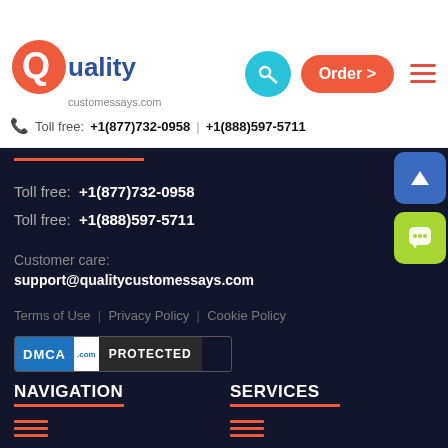[Figure (logo): Quality customessays.com logo with red Q circle and blue 'uality' text]
Toll free: +1(877)732-0958 | +1(888)597-5711
Toll free: +1(877)732-0958
Toll free: +1(888)597-5711
Customer care:
support@qualitycustomessays.com
Terms of Use | Privacy Policy | Cookie Policy
[Figure (other): DMCA.com PROTECTED badge]
NAVIGATION
SERVICES